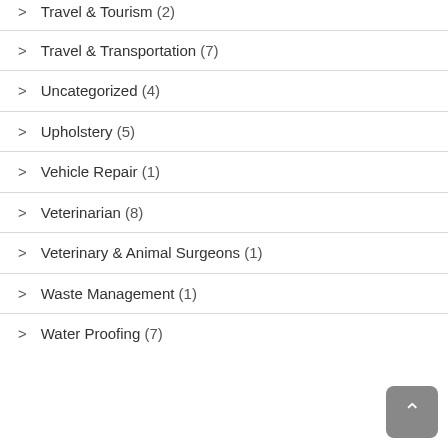Travel & Tourism (2)
Travel & Transportation (7)
Uncategorized (4)
Upholstery (5)
Vehicle Repair (1)
Veterinarian (8)
Veterinary & Animal Surgeons (1)
Waste Management (1)
Water Proofing (7)